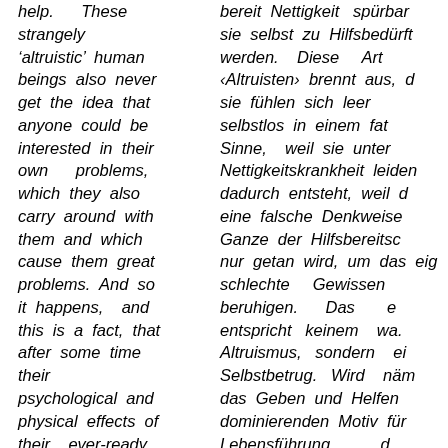help. These strangely 'altruistic' human beings also never get the idea that anyone could be interested in their own problems, which they also carry around with them and which cause them great problems. And so it happens, and this is a fact, that after some time their psychological and physical effects of their ever-ready niceness are felt
bereit Nettigkeit spürbar sie selbst zu Hilfsbedürft werden. Diese Art ‹Altruisten› brennt aus, d sie fühlen sich leer selbstlos in einem fat Sinne, weil sie unter Nettigkeitskrankheit leiden dadurch entsteht, weil d eine falsche Denkweise Ganze der Hilfsbereitsc nur getan wird, um das eig schlechte Gewissen beruhigen. Das e entspricht keinem wa. Altruismus, sondern ei Selbstbetrug. Wird näm das Geben und Helfen dominierenden Motiv für Lebensführung, d verschwindet der Me